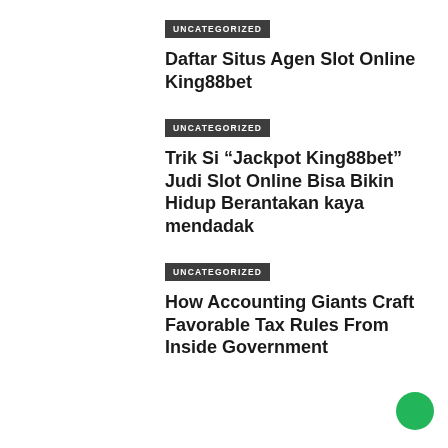UNCATEGORIZED
Daftar Situs Agen Slot Online King88bet
UNCATEGORIZED
Trik Si “Jackpot King88bet” Judi Slot Online Bisa Bikin Hidup Berantakan kaya mendadak
UNCATEGORIZED
How Accounting Giants Craft Favorable Tax Rules From Inside Government